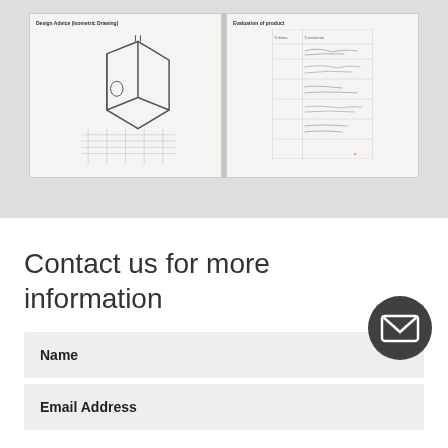[Figure (photo): Photo of student worksheets on a grey desk — left sheet shows a 3D box/isometric design drawing, right sheet shows an evaluation of product form with handwritten entries]
Contact us for more information
Name
Email Address